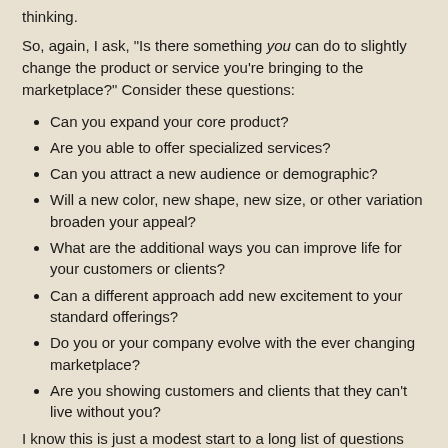thinking.
So, again, I ask, "Is there something you can do to slightly change the product or service you're bringing to the marketplace?" Consider these questions:
Can you expand your core product?
Are you able to offer specialized services?
Can you attract a new audience or demographic?
Will a new color, new shape, new size, or other variation broaden your appeal?
What are the additional ways you can improve life for your customers or clients?
Can a different approach add new excitement to your standard offerings?
Do you or your company evolve with the ever changing marketplace?
Are you showing customers and clients that they can't live without you?
I know this is just a modest start to a long list of questions